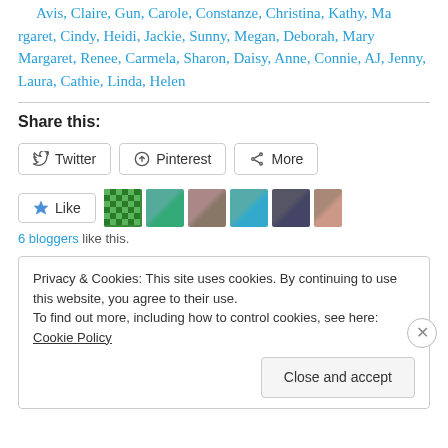Avis, Claire, Gun, Carole, Constanze, Christina, Kathy, Margaret, Cindy, Heidi, Jackie, Sunny, Megan, Deborah, Mary Margaret, Renee, Carmela, Sharon, Daisy, Anne, Connie, AJ, Jenny, Laura, Cathie, Linda, Helen
Share this:
Twitter  Pinterest  More
[Figure (other): Like button and 6 blogger avatars]
6 bloggers like this.
Privacy & Cookies: This site uses cookies. By continuing to use this website, you agree to their use.
To find out more, including how to control cookies, see here: Cookie Policy
Close and accept